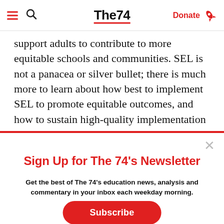The74 — Donate
support adults to contribute to more equitable schools and communities. SEL is not a panacea or silver bullet; there is much more to learn about how best to implement SEL to promote equitable outcomes, and how to sustain high-quality implementation long
Sign Up for The 74's Newsletter
Get the best of The 74's education news, analysis and commentary in your inbox each weekday morning.
Subscribe